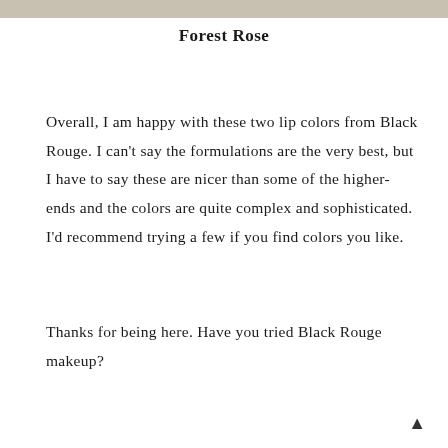Forest Rose
Overall, I am happy with these two lip colors from Black Rouge. I can't say the formulations are the very best, but I have to say these are nicer than some of the higher-ends and the colors are quite complex and sophisticated. I'd recommend trying a few if you find colors you like.
Thanks for being here. Have you tried Black Rouge makeup?